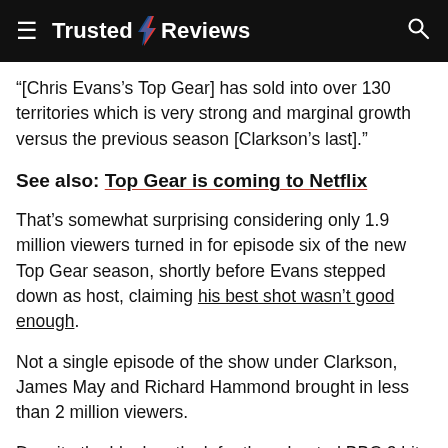Trusted Reviews
“[Chris Evans’s Top Gear] has sold into over 130 territories which is very strong and marginal growth versus the previous season [Clarkson’s last].”
See also: Top Gear is coming to Netflix
That’s somewhat surprising considering only 1.9 million viewers turned in for episode six of the new Top Gear season, shortly before Evans stepped down as host, claiming his best shot wasn’t good enough.
Not a single episode of the show under Clarkson, James May and Richard Hammond brought in less than 2 million viewers.
Despite the bleak outlook for the rebooted BBC 2 hit, Davie said the future is bright for its flagship global franchise highlighting the 300m plus views recorded on